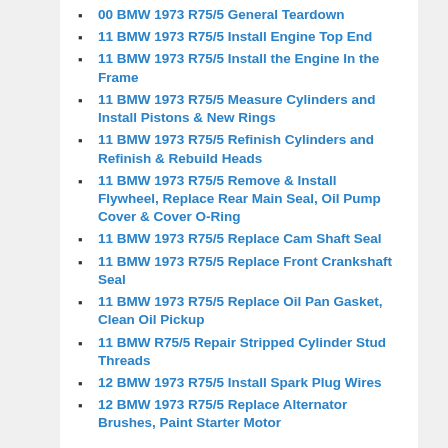00 BMW 1973 R75/5 General Teardown
11 BMW 1973 R75/5 Install Engine Top End
11 BMW 1973 R75/5 Install the Engine In the Frame
11 BMW 1973 R75/5 Measure Cylinders and Install Pistons & New Rings
11 BMW 1973 R75/5 Refinish Cylinders and Refinish & Rebuild Heads
11 BMW 1973 R75/5 Remove & Install Flywheel, Replace Rear Main Seal, Oil Pump Cover & Cover O-Ring
11 BMW 1973 R75/5 Replace Cam Shaft Seal
11 BMW 1973 R75/5 Replace Front Crankshaft Seal
11 BMW 1973 R75/5 Replace Oil Pan Gasket, Clean Oil Pickup
11 BMW R75/5 Repair Stripped Cylinder Stud Threads
12 BMW 1973 R75/5 Install Spark Plug Wires
12 BMW 1973 R75/5 Replace Alternator Brushes, Paint Starter Motor